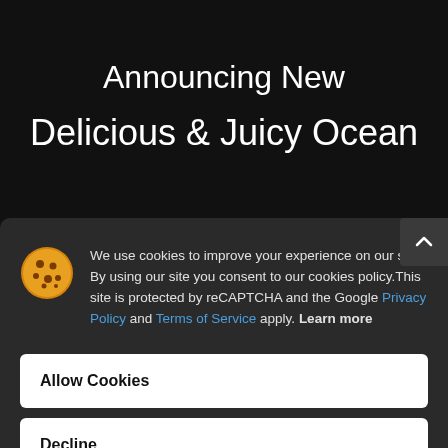Announcing New
Delicious & Juicy Ocean
We use cookies to improve your experience on our site. By using our site you consent to our cookies policy.This site is protected by reCAPTCHA and the Google Privacy Policy and Terms of Service apply. Learn more
Allow Cookies
Decline